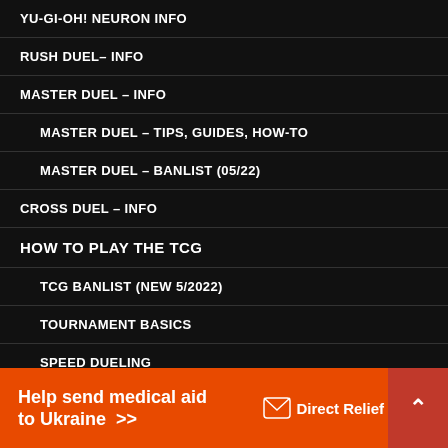YU-GI-OH! NEURON INFO
RUSH DUEL– INFO
MASTER DUEL – INFO
MASTER DUEL – TIPS, GUIDES, HOW-TO
MASTER DUEL – BANLIST (05/22)
CROSS DUEL – INFO
HOW TO PLAY THE TCG
TCG BANLIST (NEW 5/2022)
TOURNAMENT BASICS
SPEED DUELING
[Figure (infographic): Orange advertisement banner: 'Help send medical aid to Ukraine >>' with Direct Relief logo and a red chevron button on the right]